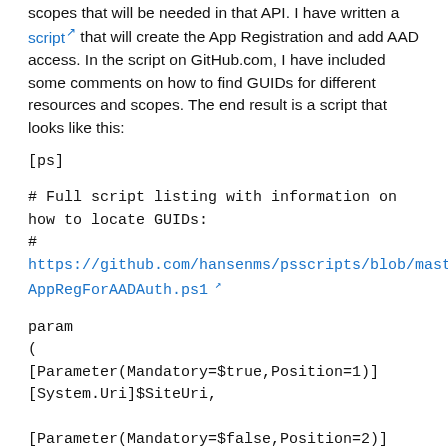scopes that will be needed in that API. I have written a script↗ that will create the App Registration and add AAD access. In the script on GitHub.com, I have included some comments on how to find GUIDs for different resources and scopes. The end result is a script that looks like this:
[ps]
# Full script listing with information on how to locate GUIDs:
#
https://github.com/hansenms/psscripts/blob/master/CreateAppRegForAADAuth.ps1↗
param
(
[Parameter(Mandatory=$true,Position=1)]
[System.Uri]$SiteUri,

[Parameter(Mandatory=$false,Position=2)]
[ValidateSet("AzureCloud","AzureUsGovernment","AzureCo...